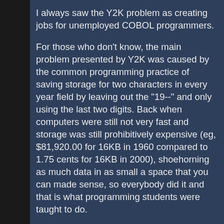I always saw the Y2K problem as creating jobs for unemployed COBOL programmers.
For those who don't know, the main problem presented by Y2K was caused by the common programming practice of saving storage for two characters in every year field by leaving out the "19--" and only using the last two digits. Back when computers were still not very fast and storage was still prohibitively expensive (eg, $81,920.00 for 16KB in 1960 compared to 1.75 cents for 16KB in 2000), shoehorning as much data in as small a space that you can made sense, so everybody did it and that is what programming students were taught to do.
Like with the GPS Week Number Rollover problem (Message 46), nobody expected that software to be around long enough to be a problem. There is an incredibly amount of legacy software out there that is still in use because "if it ain't broke, don't fix it." For example, you can find a lot of C source code for programs (eg, astronomical programs)...